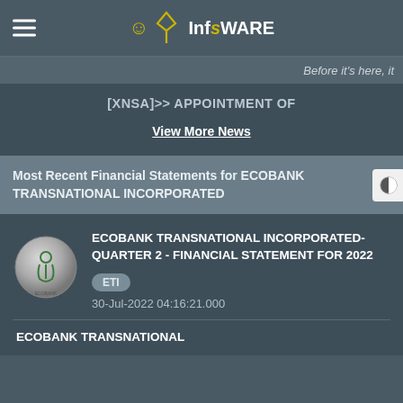InfsWARE
Before it's here, it
[XNSA]>> APPOINTMENT OF
View More News
Most Recent Financial Statements for ECOBANK TRANSNATIONAL INCORPORATED
ECOBANK TRANSNATIONAL INCORPORATED- QUARTER 2 - FINANCIAL STATEMENT FOR 2022
ETI
30-Jul-2022 04:16:21.000
ECOBANK TRANSNATIONAL